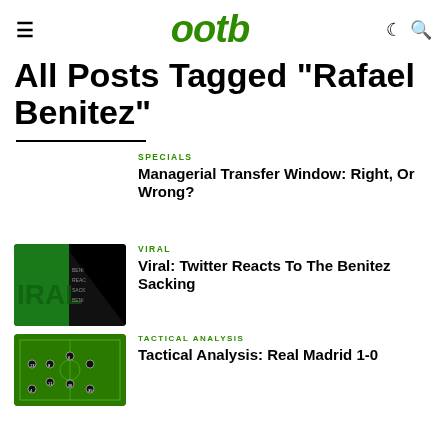ootb
All Posts Tagged "Rafael Benitez"
SPECIALS
Managerial Transfer Window: Right, Or Wrong?
[Figure (other): Placeholder image area (no thumbnail shown for first article)]
VIRAL
Viral: Twitter Reacts To The Benitez Sacking
[Figure (other): Dark thumbnail with green IRAL text and diagonal stripe for Viral article]
TACTICAL ANALYSIS
Tactical Analysis: Real Madrid 1-0
[Figure (other): Green football pitch tactical diagram thumbnail]